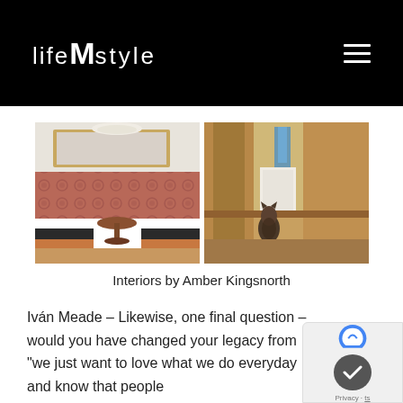lifeMstyle
[Figure (photo): Two interior design photos side by side: left shows a dining room with bench seating, patterned wall, mirror, and pendant light; right shows a close-up of wooden architectural detail with a small animal figurine]
Interiors by Amber Kingsnorth
Iván Meade – Likewise, one final question – would you have changed your legacy from "we just want to love what we do everyday and know that people